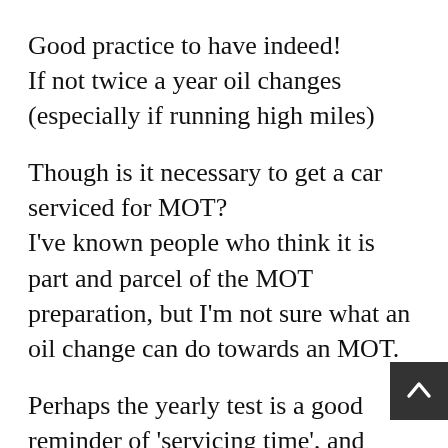Good practice to have indeed!
If not twice a year oil changes (especially if running high miles)
Though is it necessary to get a car serviced for MOT?
I've known people who think it is part and parcel of the MOT preparation, but I'm not sure what an oil change can do towards an MOT.
Perhaps the yearly test is a good reminder of 'servicing time', and people's mecha will likely point out any MOT failing